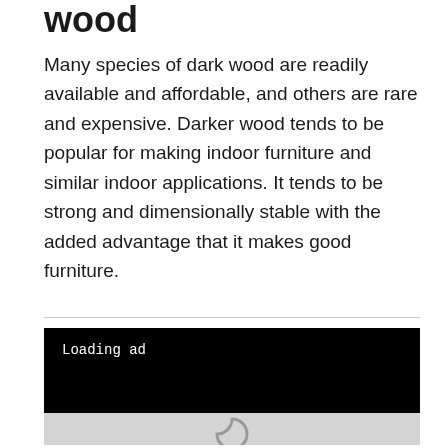wood
Many species of dark wood are readily available and affordable, and others are rare and expensive. Darker wood tends to be popular for making indoor furniture and similar indoor applications. It tends to be strong and dimensionally stable with the added advantage that it makes good furniture.
[Figure (other): Advertisement loading box with black background showing 'Loading ad' text in monospace font, followed by a grey loading spinner area below.]